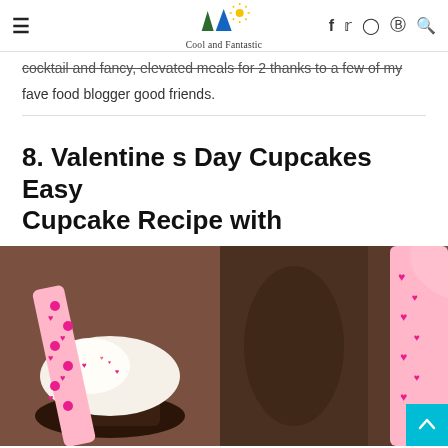Cool and Fantastic — navigation header with hamburger menu, logo, and social icons (f, twitter, instagram, pinterest, search)
cocktail and fancy, elevated meals for 2 thanks to a few of my fave food blogger good friends.
8. Valentine s Day Cupcakes Easy Cupcake Recipe with
[Figure (photo): Close-up photo of Valentine's Day cupcakes with white frosting, pink heart sprinkles, and pink ribbon with hearts in the background on a dark surface.]